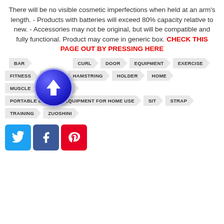There will be no visible cosmetic imperfections when held at an arm's length. - Products with batteries will exceed 80% capacity relative to new. - Accessories may not be original, but will be compatible and fully functional. Product may come in generic box. CHECK THIS PAGE OUT BY PRESSING HERE
[Figure (illustration): Blue circular arrow-up icon/button]
BAR
CURL
DOOR
EQUIPMENT
EXERCISE
FITNESS
FOOT
HAMSTRING
HOLDER
HOME
MUSCLE
PORTABLE
PORTABLE EXERCISE EQUIPMENT FOR HOME USE
SIT
STRAP
TRAINING
ZUOSHINI
[Figure (illustration): Social share buttons: Twitter (blue), Facebook (dark blue), Pinterest (red)]